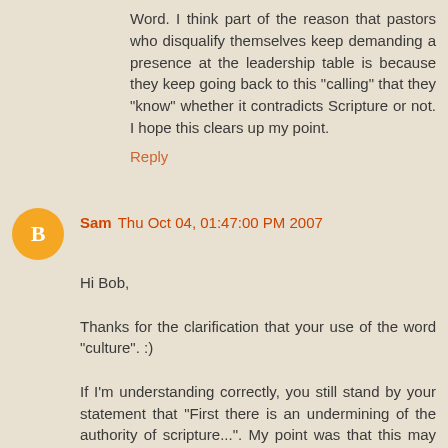Word. I think part of the reason that pastors who disqualify themselves keep demanding a presence at the leadership table is because they keep going back to this "calling" that they "know" whether it contradicts Scripture or not. I hope this clears up my point.
Reply
Sam  Thu Oct 04, 01:47:00 PM 2007
Hi Bob,

Thanks for the clarification that your use of the word "culture". :)

If I'm understanding correctly, you still stand by your statement that "First there is an undermining of the authority of scripture...". My point was that this may be a hasty condemnation, whereas from the other perspective, I am trying to think critically and realize truth from Scripture, just the same as you are. Am I understanding you correctly? :)